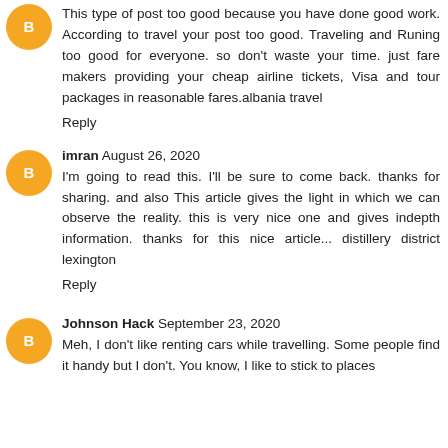This type of post too good because you have done good work. According to travel your post too good. Traveling and Runing too good for everyone. so don't waste your time. just fare makers providing your cheap airline tickets, Visa and tour packages in reasonable fares.albania travel
Reply
imran  August 26, 2020
I'm going to read this. I'll be sure to come back. thanks for sharing. and also This article gives the light in which we can observe the reality. this is very nice one and gives indepth information. thanks for this nice article... distillery district lexington
Reply
Johnson Hack  September 23, 2020
Meh, I don't like renting cars while travelling. Some people find it handy but I don't. You know, I like to stick to places